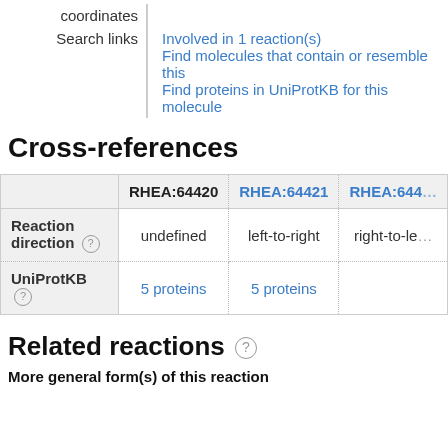|  |  |
| --- | --- |
| coordinates |  |
| Search links | Involved in 1 reaction(s)
Find molecules that contain or resemble this
Find proteins in UniProtKB for this molecule |
Cross-references
|  | RHEA:64420 | RHEA:64421 | RHEA:644... |
| --- | --- | --- | --- |
| Reaction direction (?) | undefined | left-to-right | right-to-le... |
| UniProtKB (?) | 5 proteins | 5 proteins |  |
Related reactions
More general form(s) of this reaction